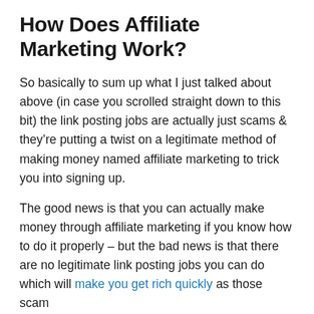How Does Affiliate Marketing Work?
So basically to sum up what I just talked about above (in case you scrolled straight down to this bit) the link posting jobs are actually just scams & they're putting a twist on a legitimate method of making money named affiliate marketing to trick you into signing up.
The good news is that you can actually make money through affiliate marketing if you know how to do it properly – but the bad news is that there are no legitimate link posting jobs you can do which will make you get rich quickly as those scam